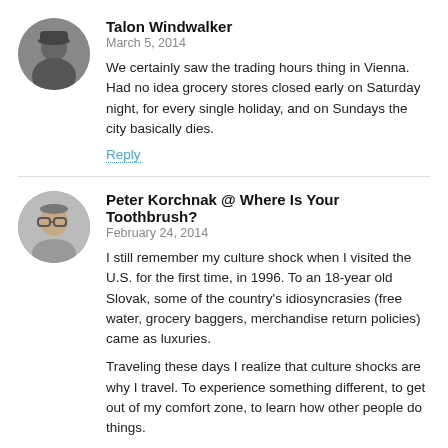[Figure (photo): Circular avatar photo of Talon Windwalker, a person wearing a hat]
Talon Windwalker
March 5, 2014
We certainly saw the trading hours thing in Vienna. Had no idea grocery stores closed early on Saturday night, for every single holiday, and on Sundays the city basically dies.
Reply
[Figure (photo): Circular avatar photo of Peter Korchnak, a bespectacled man]
Peter Korchnak @ Where Is Your Toothbrush?
February 24, 2014
I still remember my culture shock when I visited the U.S. for the first time, in 1996. To an 18-year old Slovak, some of the country's idiosyncrasies (free water, grocery baggers, merchandise return policies) came as luxuries.
Traveling these days I realize that culture shocks are why I travel. To experience something different, to get out of my comfort zone, to learn how other people do things.
The button-operated toilet seat at Bangkok's Terminal 21 Mall, decked out with seat heating, water spray with direction controls, and a butt blow dryer? Yes, please.